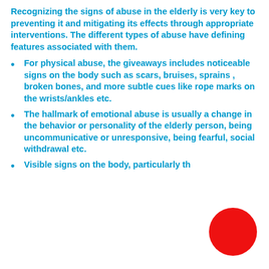Recognizing the signs of abuse in the elderly is very key to preventing it and mitigating its effects through appropriate interventions. The different types of abuse have defining features associated with them.
For physical abuse, the giveaways includes noticeable signs on the body such as scars, bruises, sprains , broken bones, and more subtle cues like rope marks on the wrists/ankles etc.
The hallmark of emotional abuse is usually a change in the behavior or personality of the elderly person, being uncommunicative or unresponsive, being fearful, social withdrawal etc.
Visible signs on the body, particularly the